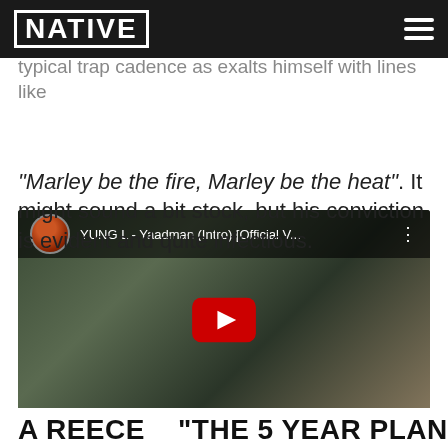NATIVE
prints a self-assured image of himself on wax, between patois indented delivery and typical trap cadence as exalts himself with lines like "Marley be the fire, Marley be the heat". It might sound a bit stock, but his conviction is evident and quite infectious.
[Figure (screenshot): YouTube video embed showing YUNG L - Yaadman (Intro) [Official V...] with thumbnail of artist with a large cat animal, red YouTube play button in center]
A REECE  "THE 5 YEAR PLAN"